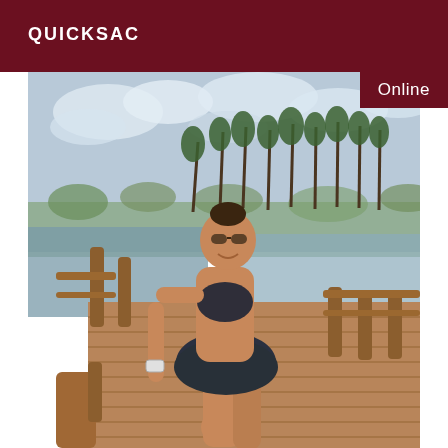QUICKSAC
[Figure (photo): A smiling woman wearing sunglasses, a dark patterned bikini top and matching patterned shorts, standing on a wooden boardwalk/pier with wooden railings. Palm trees and a lagoon or beach visible in the background under a partly cloudy sky. She is posing with one hand on the railing, looking back at the camera.]
Online